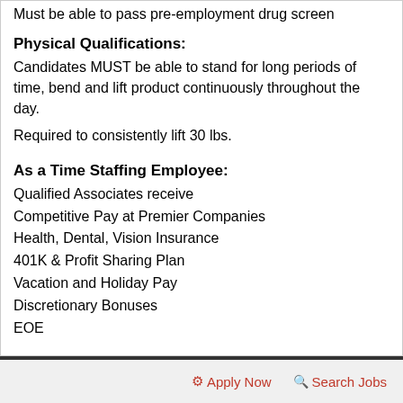Must be able to pass pre-employment drug screen
Physical Qualifications:
Candidates MUST be able to stand for long periods of time, bend and lift product continuously throughout the day.
Required to consistently lift 30 lbs.
As a Time Staffing Employee:
Qualified Associates receive
Competitive Pay at Premier Companies
Health, Dental, Vision Insurance
401K & Profit Sharing Plan
Vacation and Holiday Pay
Discretionary Bonuses
EOE
Apply Now   Search Jobs